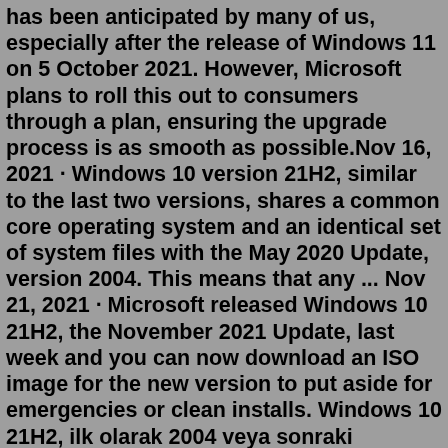has been anticipated by many of us, especially after the release of Windows 11 on 5 October 2021. However, Microsoft plans to roll this out to consumers through a plan, ensuring the upgrade process is as smooth as possible.Nov 16, 2021 · Windows 10 version 21H2, similar to the last two versions, shares a common core operating system and an identical set of system files with the May 2020 Update, version 2004. This means that any ... Nov 21, 2021 · Microsoft released Windows 10 21H2, the November 2021 Update, last week and you can now download an ISO image for the new version to put aside for emergencies or clean installs. Windows 10 21H2, ilk olarak 2004 veya sonraki sürümlerini çalıştırankar için isteğe bağlı bir güncelleme olarak kullanıma sunuluyor. Ayrıca Windows 10 21H2'de, Linux için Windows Alt Sistemi ve Linux ve Windows için Azure IoT Edge için sabırsızlıkla beklenen GPU hesaplama özelliği...Nov 16, 2021 · With Windows 10, version 21H2, we are making some critical changes to the Universal Windows Platform (UWP) VPN APIs. This